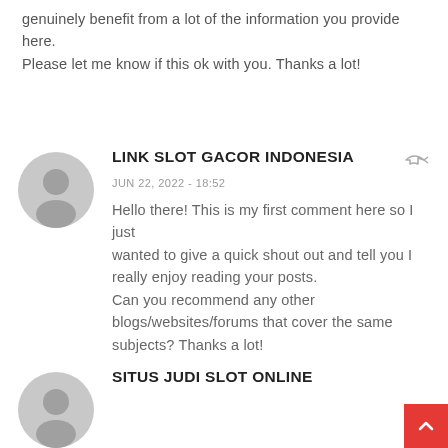genuinely benefit from a lot of the information you provide here.
Please let me know if this ok with you. Thanks a lot!
[Figure (illustration): Gray circular avatar icon for user LINK SLOT GACOR INDONESIA]
LINK SLOT GACOR INDONESIA
JUN 22, 2022 - 18:52
Hello there! This is my first comment here so I just
wanted to give a quick shout out and tell you I really enjoy reading your posts.
Can you recommend any other blogs/websites/forums that cover the same subjects? Thanks a lot!
[Figure (illustration): Gray circular avatar icon for user SITUS JUDI SLOT ONLINE]
SITUS JUDI SLOT ONLINE